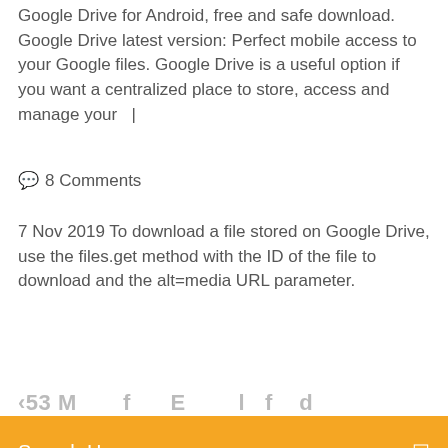Google Drive for Android, free and safe download. Google Drive latest version: Perfect mobile access to your Google files. Google Drive is a useful option if you want a centralized place to store, access and manage your  |
💬  8 Comments
7 Nov 2019 To download a file stored on Google Drive, use the files.get method with the ID of the file to download and the alt=media URL parameter.
‹53 M...
Search Here
Download Autosync for Google Drive.apk Android,developed by ttxapps File size 5.28 MB.is ttxapps,drivesync,productivity,autosync,google,drive. Microsoft has today announced the official SkyDrive App for the Android Smartphones. Download Official Sky Drive App for Android on the Google Play Store. Here is the link. Download Google Drive for Windows PC from FileHorse. 100% Safe and Secure Free